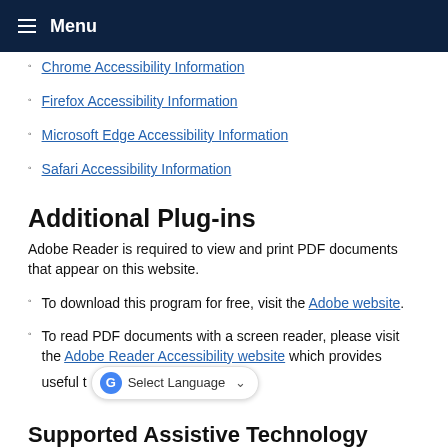Menu
Chrome Accessibility Information
Firefox Accessibility Information
Microsoft Edge Accessibility Information
Safari Accessibility Information
Additional Plug-ins
Adobe Reader is required to view and print PDF documents that appear on this website.
To download this program for free, visit the Adobe website.
To read PDF documents with a screen reader, please visit the Adobe Reader Accessibility website which provides useful t…
Supported Assistive Technology
Latest Version of JAWS for Windows